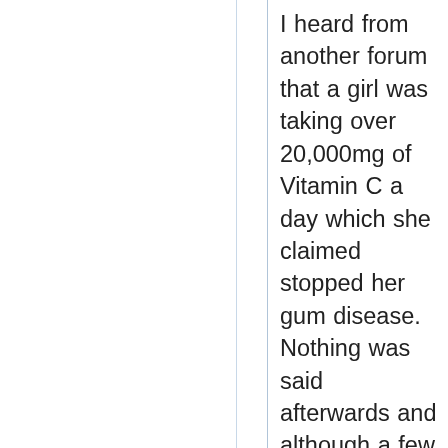I heard from another forum that a girl was taking over 20,000mg of Vitamin C a day which she claimed stopped her gum disease. Nothing was said afterwards and although a few have replied saying it helped them too, noone has said whether they have continued to do this long-term nor whether they've been cured completely after verification from a check-up. I suspect the girl may have been promoting supplements…it just sounded too suspicious and there was no logical reasoning behind it other than Gum Disease is similar to Scurvy. I know that high doses of Vitamin C can actually cause harm in the long-term, it is widely known in Chinese Medicine as fruits with